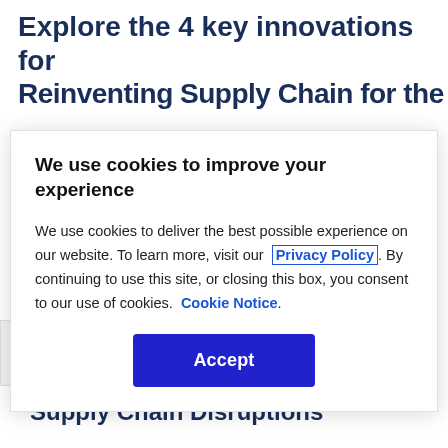Explore the 4 key innovations for Reinventing Supply Chain for the
We use cookies to improve your experience
We use cookies to deliver the best possible experience on our website. To learn more, visit our Privacy Policy. By continuing to use this site, or closing this box, you consent to our use of cookies. Cookie Notice.
[Figure (other): Accept button for cookie consent modal]
Privacy Policy
[Figure (other): reCAPTCHA badge with Privacy and Terms links]
Supply Chain Disruptions